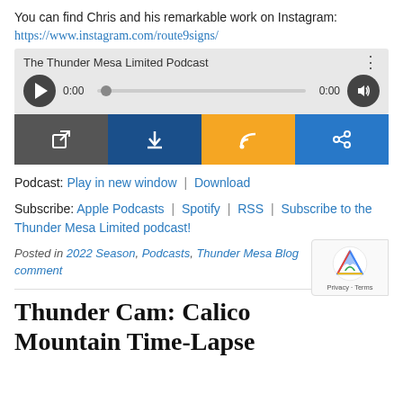You can find Chris and his remarkable work on Instagram:
https://www.instagram.com/route9signs/
[Figure (screenshot): Embedded audio podcast player widget with title 'The Thunder Mesa Limited Podcast', play button, scrubber bar showing 0:00, and volume control]
[Figure (screenshot): Four icon buttons: open-in-new (dark gray), download (dark navy), RSS feed (orange), share (blue)]
Podcast: Play in new window | Download
Subscribe: Apple Podcasts | Spotify | RSS | Subscribe to the Thunder Mesa Limited podcast!
Posted in 2022 Season, Podcasts, Thunder Mesa Blog   Leave a comment
Thunder Cam: Calico Mountain Time-Lapse